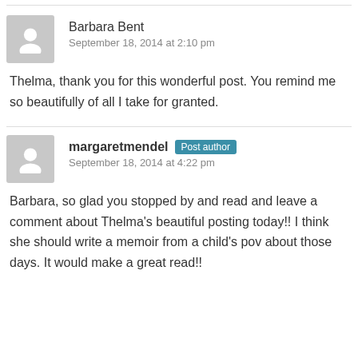Barbara Bent
September 18, 2014 at 2:10 pm
Thelma, thank you for this wonderful post. You remind me so beautifully of all I take for granted.
margaretmendel  Post author
September 18, 2014 at 4:22 pm
Barbara, so glad you stopped by and read and leave a comment about Thelma's beautiful posting today!! I think she should write a memoir from a child's pov about those days. It would make a great read!!